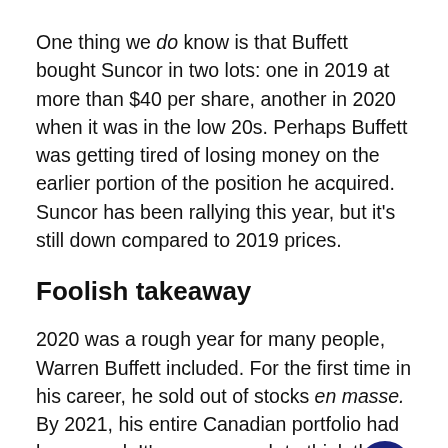One thing we do know is that Buffett bought Suncor in two lots: one in 2019 at more than $40 per share, another in 2020 when it was in the low 20s. Perhaps Buffett was getting tired of losing money on the earlier portion of the position he acquired. Suncor has been rallying this year, but it's still down compared to 2019 prices.
Foolish takeaway
2020 was a rough year for many people, Warren Buffett included. For the first time in his career, he sold out of stocks en masse. By 2021, his entire Canadian portfolio had been axed. It's easy enough to think that Buffett gave Canada the